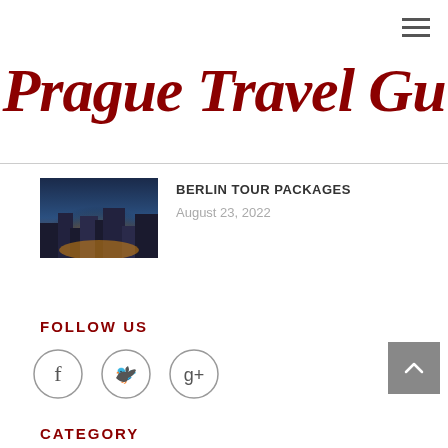Prague Travel Gu
[Figure (photo): Thumbnail photo of Berlin city at night with illuminated buildings and streets]
BERLIN TOUR PACKAGES
August 23, 2022
FOLLOW US
[Figure (infographic): Social media icons: Facebook (f), Twitter (bird), Google+ (g+) in circular outlines]
CATEGORY